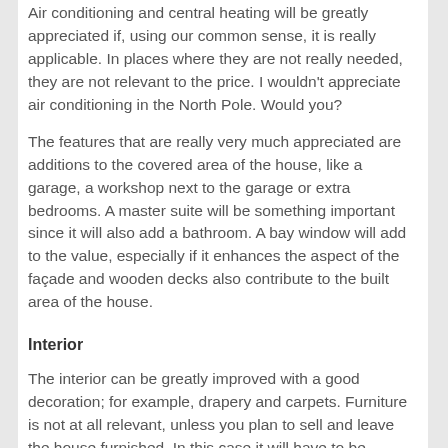Air conditioning and central heating will be greatly appreciated if, using our common sense, it is really applicable. In places where they are not really needed, they are not relevant to the price. I wouldn't appreciate air conditioning in the North Pole. Would you?
The features that are really very much appreciated are additions to the covered area of the house, like a garage, a workshop next to the garage or extra bedrooms. A master suite will be something important since it will also add a bathroom. A bay window will add to the value, especially if it enhances the aspect of the façade and wooden decks also contribute to the built area of the house.
Interior
The interior can be greatly improved with a good decoration; for example, drapery and carpets. Furniture is not at all relevant, unless you plan to sell and leave the house furnished. In this case it will have to be appraised separately from the house.